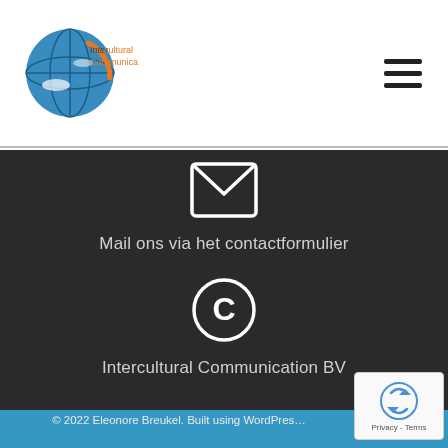[Figure (logo): Intercultural Communication logo with globe and orange text]
[Figure (illustration): Hamburger menu icon (three horizontal lines)]
[Figure (illustration): Envelope/mail icon on dark background]
Mail ons via het contactformulier
[Figure (illustration): Copyright symbol © on dark background]
Intercultural Communication BV
© 2022 Eleonore Breukel. Built using WordPress OnePage Express Theme.